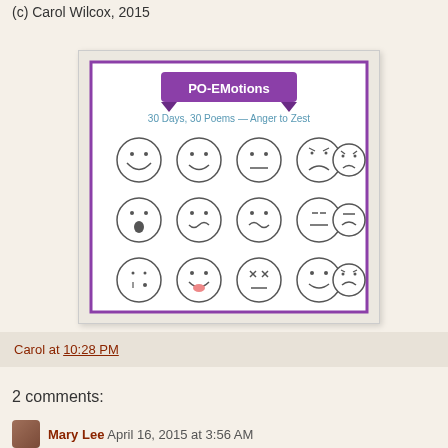(c) Carol Wilcox, 2015
[Figure (illustration): Book cover illustration titled 'PO-EMotions: 30 Days, 30 Poems — Anger to Zest' with a purple banner header and 15 emoji-style faces showing various emotions arranged in a 5x3 grid on a white card with purple border.]
Carol at 10:28 PM
2 comments:
Mary Lee  April 16, 2015 at 3:56 AM